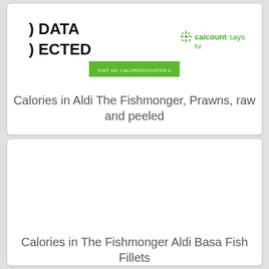[Figure (screenshot): Partially visible calcount logo with green starburst icon and text 'calcount says' and 'for', plus a green banner bar with website URL. Background also shows partial bold text ') DATA ECTED'.]
Calories in Aldi The Fishmonger, Prawns, raw and peeled
[Figure (screenshot): Blank white card area for the second food item]
Calories in The Fishmonger Aldi Basa Fish Fillets